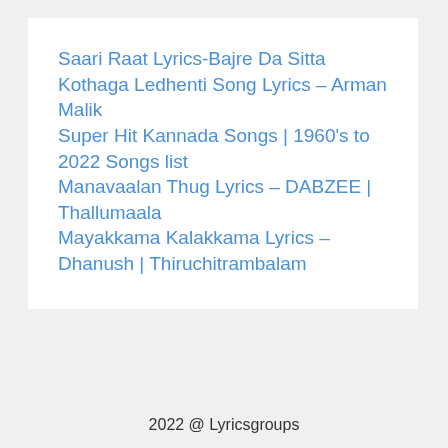Saari Raat Lyrics-Bajre Da Sitta
Kothaga Ledhenti Song Lyrics – Arman Malik
Super Hit Kannada Songs | 1960's to 2022 Songs list
Manavaalan Thug Lyrics – DABZEE | Thallumaala
Mayakkama Kalakkama Lyrics – Dhanush | Thiruchitrambalam
2022 @ Lyricsgroups